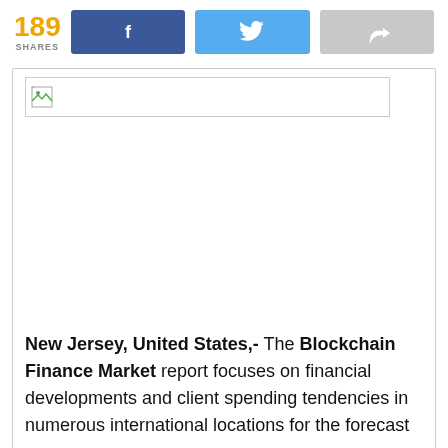189 SHARES
[Figure (illustration): Social share buttons: Facebook (blue), Twitter (light blue), and a share icon (grey)]
[Figure (photo): Broken/unloaded image placeholder with small broken image icon in top-left corner]
New Jersey, United States,- The Blockchain Finance Market report focuses on financial developments and client spending tendencies in numerous international locations for the forecast